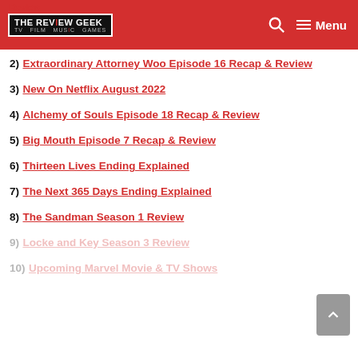THE REVIEW GEEK — TV FILM MUSIC GAMES — Menu
2) Extraordinary Attorney Woo Episode 16 Recap & Review
3) New On Netflix August 2022
4) Alchemy of Souls Episode 18 Recap & Review
5) Big Mouth Episode 7 Recap & Review
6) Thirteen Lives Ending Explained
7) The Next 365 Days Ending Explained
8) The Sandman Season 1 Review
9) Locke and Key Season 3 Review
10) Upcoming Marvel Movie & TV Shows